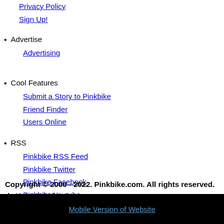Privacy Policy
Sign Up!
Advertise
Advertising
Cool Features
Submit a Story to Pinkbike
Friend Finder
Users Online
RSS
Pinkbike RSS Feed
Pinkbike Twitter
Pinkbike Facebook
Pinkbike Youtube
Copyright © 2000 - 2022. Pinkbike.com. All rights reserved.
dv42 0.061505
Mobile Version of Website